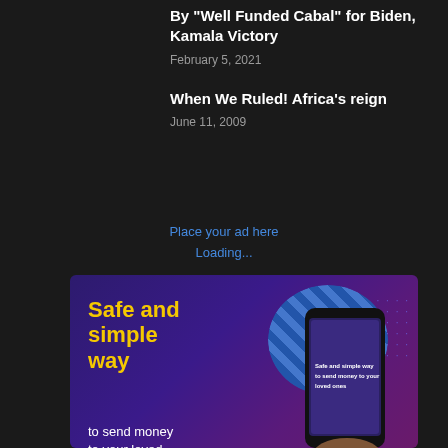By "Well Funded Cabal" for Biden, Kamala Victory
February 5, 2021
When We Ruled! Africa's reign
June 11, 2009
Place your ad here
Loading...
[Figure (infographic): Advertisement banner with purple gradient background showing 'Safe and simple way to send money to your loved ones' with yellow bold text, a phone mockup, and blue striped circle design element]